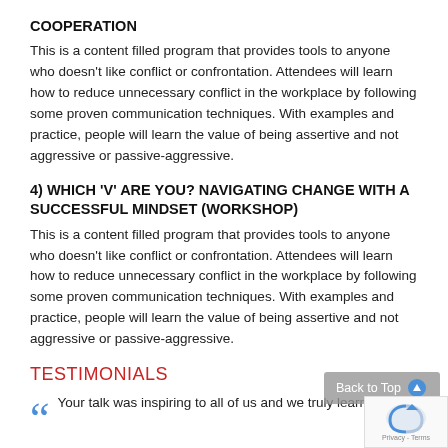COOPERATION
This is a content filled program that provides tools to anyone who doesn't like conflict or confrontation.  Attendees will learn how to reduce unnecessary conflict in the workplace by following some proven communication techniques.  With examples and practice, people will learn the value of being assertive and not aggressive or passive-aggressive.
4) WHICH 'V' ARE YOU? NAVIGATING CHANGE WITH A SUCCESSFUL MINDSET (WORKSHOP)
This is a content filled program that provides tools to anyone who doesn't like conflict or confrontation.  Attendees will learn how to reduce unnecessary conflict in the workplace by following some proven communication techniques.  With examples and practice, people will learn the value of being assertive and not aggressive or passive-aggressive.
TESTIMONIALS
Your talk was inspiring to all of us and we truly learned and